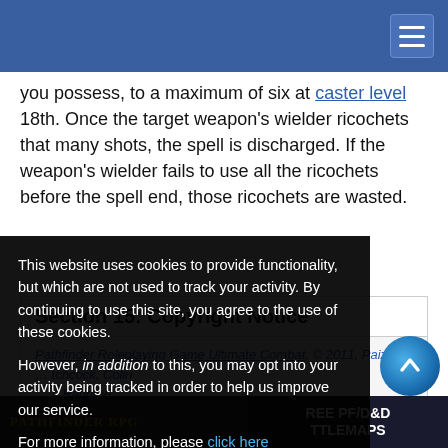[Figure (screenshot): Blue navigation header bar with hamburger menu icon in top right corner]
you possess, to a maximum of six at caster level 18th. Once the target weapon's wielder ricochets that many shots, the spell is discharged. If the weapon's wielder fails to use all the ricochets before the spell end, those ricochets are wasted.
Section 15: Copyright Notice
Pathfinder Roleplaying Game Ultimate Combat, © 2011, Paizo ... tchcock, Colin ... n Radney- ... ens, and Russ
This website uses cookies to provide functionality, but which are not used to track your activity. By continuing to use this site, you agree to the use of these cookies.

However, in addition to this, you may opt into your activity being tracked in order to help us improve our service.

For more information, please click here